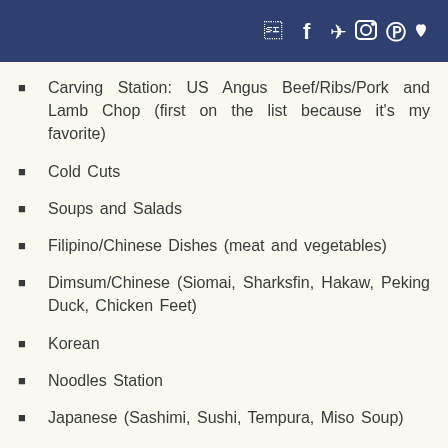Social icons: Facebook, Twitter, Instagram, Pinterest, Heart
Carving Station: US Angus Beef/Ribs/Pork and Lamb Chop (first on the list because it's my favorite)
Cold Cuts
Soups and Salads
Filipino/Chinese Dishes (meat and vegetables)
Dimsum/Chinese (Siomai, Sharksfin, Hakaw, Peking Duck, Chicken Feet)
Korean
Noodles Station
Japanese (Sashimi, Sushi, Tempura, Miso Soup)